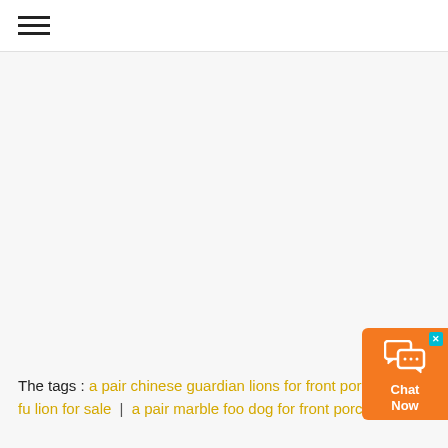≡
The tags : a pair chinese guardian lions for front porch | fu lion for sale | a pair marble foo dog for front porch